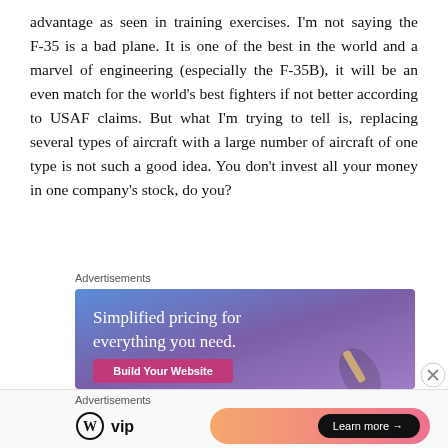advantage as seen in training exercises. I'm not saying the F-35 is a bad plane. It is one of the best in the world and a marvel of engineering (especially the F-35B), it will be an even match for the world's best fighters if not better according to USAF claims. But what I'm trying to tell is, replacing several types of aircraft with a large number of aircraft of one type is not such a good idea. You don't invest all your money in one company's stock, do you?
Advertisements
[Figure (illustration): Advertisement banner with gradient blue-purple background showing text 'Simplified pricing for everything you need.' and a 'Build Your Website' button]
Advertisements
[Figure (logo): WordPress VIP logo]
[Figure (illustration): Advertisement banner with orange/pink gradient and 'Learn more →' button]